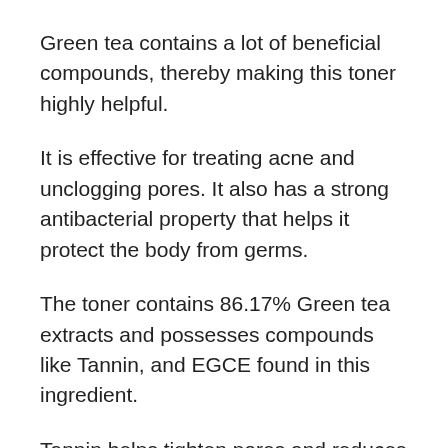Green tea contains a lot of beneficial compounds, thereby making this toner highly helpful.
It is effective for treating acne and unclogging pores. It also has a strong antibacterial property that helps it protect the body from germs.
The toner contains 86.17% Green tea extracts and possesses compounds like Tannin, and EGCE found in this ingredient.
Tannin helps tighten pores and reduces sebum production, while EGCE is an antioxidant that combats DNA damage by UV rays, thereby preventing skin cancer.